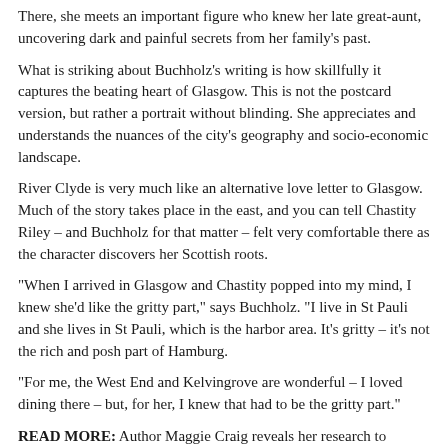There, she meets an important figure who knew her late great-aunt, uncovering dark and painful secrets from her family's past.
What is striking about Buchholz's writing is how skillfully it captures the beating heart of Glasgow. This is not the postcard version, but rather a portrait without blinding. She appreciates and understands the nuances of the city's geography and socio-economic landscape.
River Clyde is very much like an alternative love letter to Glasgow. Much of the story takes place in the east, and you can tell Chastity Riley – and Buchholz for that matter – felt very comfortable there as the character discovers her Scottish roots.
“When I arrived in Glasgow and Chastity popped into my mind, I knew she’d like the gritty part,” says Buchholz. “I live in St Pauli and she lives in St Pauli, which is the harbor area. It’s gritty – it’s not the rich and posh part of Hamburg.
“For me, the West End and Kelvingrove are wonderful – I loved dining there – but, for her, I knew that had to be the gritty part.”
READ MORE: Author Maggie Craig reveals her research to uncover Culloden’s harrowing secrets
Buchholz began researching how many Scots emigrated at the end